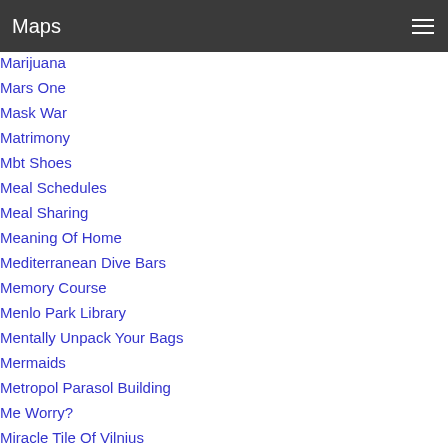Maps
Marijuana
Mars One
Mask War
Matrimony
Mbt Shoes
Meal Schedules
Meal Sharing
Meaning Of Home
Mediterranean Dive Bars
Memory Course
Menlo Park Library
Mentally Unpack Your Bags
Mermaids
Metropol Parasol Building
Me Worry?
Miracle Tile Of Vilnius
Mobilize America